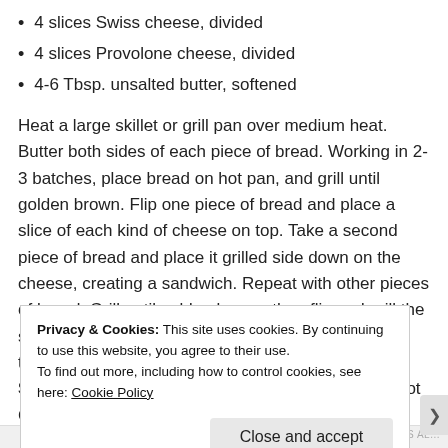4 slices Swiss cheese, divided
4 slices Provolone cheese, divided
4-6 Tbsp. unsalted butter, softened
Heat a large skillet or grill pan over medium heat. Butter both sides of each piece of bread. Working in 2-3 batches, place bread on hot pan, and grill until golden brown. Flip one piece of bread and place a slice of each kind of cheese on top. Take a second piece of bread and place it grilled side down on the cheese, creating a sandwich. Repeat with other pieces of bread. Grill until golden brown, then flip and grill the second side of the sandwich until golden brown and the cheese has melted. Repeat with all sandwiches. Sidekick: Pair with a glass of Sauvignon Blanc, Pinot Grigio, or a Gewürztraminer.
Privacy & Cookies: This site uses cookies. By continuing to use this website, you agree to their use.
To find out more, including how to control cookies, see here: Cookie Policy
Close and accept